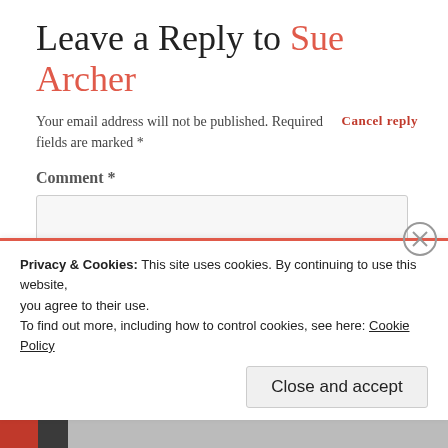Leave a Reply to Sue Archer
Your email address will not be published. Required fields are marked *
Cancel reply
Comment *
[Figure (screenshot): Empty comment text area input box]
Privacy & Cookies: This site uses cookies. By continuing to use this website, you agree to their use.
To find out more, including how to control cookies, see here: Cookie Policy
Close and accept